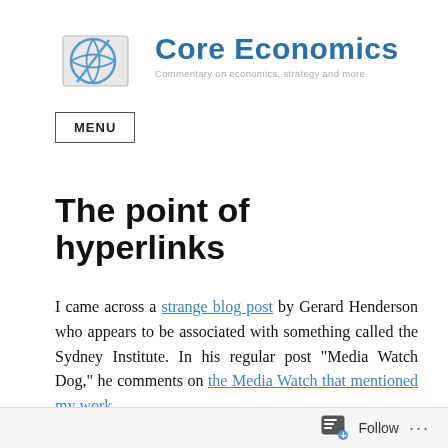[Figure (logo): Core Economics blog logo with a diamond/globe icon and the text 'Core Economics' and tagline 'Commentary on economics, strategy and more']
MENU
The point of hyperlinks
I came across a strange blog post by Gerard Henderson who appears to be associated with something called the Sydney Institute. In his regular post “Media Watch Dog,” he comments on the Media Watch that mentioned my work
Follow ...